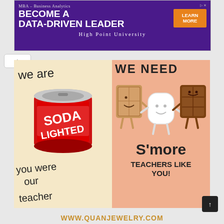[Figure (illustration): Advertisement banner for High Point University MBA Business Analytics program. Purple background with text 'MBA – Business Analytics', 'BECOME A DATA-DRIVEN LEADER', 'LEARN MORE' orange button, and 'High Point University' label.]
[Figure (illustration): Left half: cream/tan background card with a red soda can labeled 'SODA LIGHTED' and handwritten-style text reading 'we are', 'you were our teacher' — a teacher appreciation pun. Right half: peach background card showing cartoon s'mores characters (graham cracker, marshmallow, chocolate bar) holding hands, with text 'WE NEED S'more TEACHERS LIKE YOU!']
WWW.QUANJEWELRY.COM